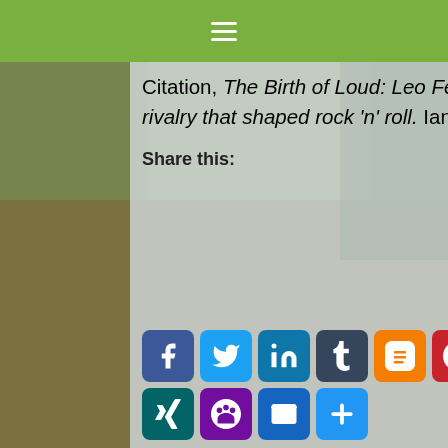☰
Citation, The Birth of Loud: Leo Fender, Les Paul, and the guitar-pioneering rivalry that shaped rock 'n' roll. Ian Port, Scribner, 2019
Share this:
[Figure (infographic): Social sharing buttons: Facebook, Twitter, LinkedIn, Tumblr, Blogger, Pinterest, Copy Link, XING, Yummly, Email, More]
Filed Under: MUSIC, Writing
Tagged With: #breathnotes, #CTSALUMNI, #gummersound, #lifephilosophy, #literature, #motorcyclingyogiG, #NMUALUMNI, #poetry